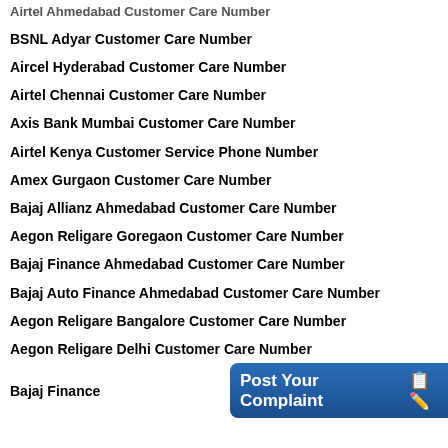Airtel Ahmedabad Customer Care Number
BSNL Adyar Customer Care Number
Aircel Hyderabad Customer Care Number
Airtel Chennai Customer Care Number
Axis Bank Mumbai Customer Care Number
Airtel Kenya Customer Service Phone Number
Amex Gurgaon Customer Care Number
Bajaj Allianz Ahmedabad Customer Care Number
Aegon Religare Goregaon Customer Care Number
Bajaj Finance Ahmedabad Customer Care Number
Bajaj Auto Finance Ahmedabad Customer Care Number
Aegon Religare Bangalore Customer Care Number
Aegon Religare Delhi Customer Care Number
Bajaj Finance [Post Your Complaint]